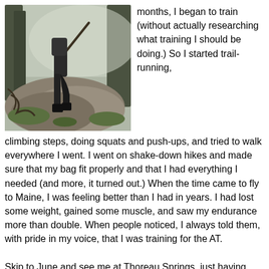[Figure (photo): A hiker climbing rocky trail in a misty forest, view from behind showing legs and boots, rocks covered with moss and tree roots visible.]
months, I began to train (without actually researching what training I should be doing.) So I started trail-running, climbing steps, doing squats and push-ups, and tried to walk everywhere I went. I went on shake-down hikes and made sure that my bag fit properly and that I had everything I needed (and more, it turned out.) When the time came to fly to Maine, I was feeling better than I had in years. I had lost some weight, gained some muscle, and saw my endurance more than double. When people noticed, I always told them, with pride in my voice, that I was training for the AT.
Skip to June and see me at Thoreau Springs, just having climbed to the tableland of Mt. Katahdin, only a short 4 miles in, with